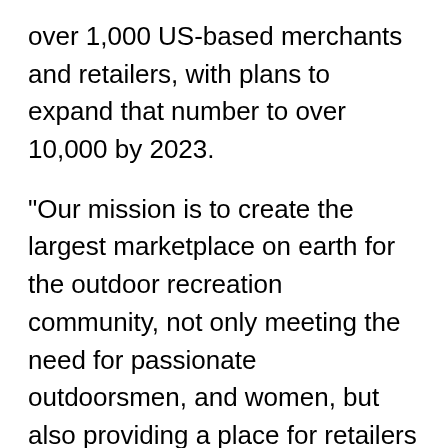over 1,000 US-based merchants and retailers, with plans to expand that number to over 10,000 by 2023.
"Our mission is to create the largest marketplace on earth for the outdoor recreation community, not only meeting the need for passionate outdoorsmen, and women, but also providing a place for retailers and brands to stand out, build fanbases, and sell gear, accessories, and apparel for all genres of outdoor activity," explained Founder and CEO, Bill Voss. "We are providing an environment that's just as seller friendly as it is consumer friendly. That level of collaboration allows for the most robust niche marketplace possible, which provides the best experience for the consumer."
As an avid outdoor enthusiast, Bill Voss frequently finds himself outdoors with his friends and family. Before founding Everest, Bill recalls seeing a need in the industry for an digital marketplace to help individuals like himself shop for